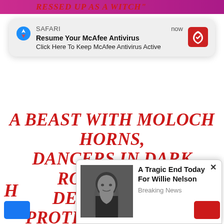RESSED UP AS A WITCH"
[Figure (screenshot): Safari browser notification popup showing McAfee Antivirus alert: 'Resume Your McAfee Antivirus' / 'Click Here To Keep McAfee Antivirus Active', with McAfee logo, labeled SAFARI and timestamped 'now']
A BEAST WITH MOLOCH HORNS, DANCERS IN DARK ROBES WITH DEVIL HORNS PROTRUDING FROM THEIR HEADS, AND POLE DANCING WITH A BROOM.  AT THE END OF THE “CEREMONY”, PERRY WAS “BURNED AT THE STAKE” AS THE
[Figure (screenshot): Ad popup overlay showing a photo of Willie Nelson (elderly man with long gray hair and beard) with headline 'A Tragic End Today For Willie Nelson' and subtext 'Breaking News', with an X close button]
H                                                                            M